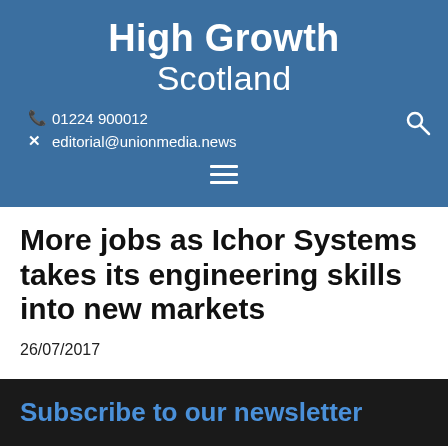High Growth Scotland
01224 900012
editorial@unionmedia.news
More jobs as Ichor Systems takes its engineering skills into new markets
26/07/2017
Subscribe to our newsletter